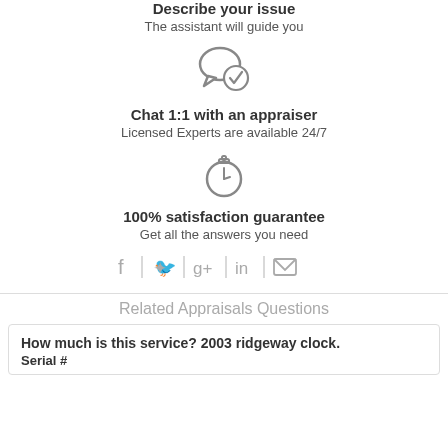Describe your issue
The assistant will guide you
[Figure (illustration): Chat bubble with checkmark icon]
Chat 1:1 with an appraiser
Licensed Experts are available 24/7
[Figure (illustration): Stopwatch/timer icon]
100% satisfaction guarantee
Get all the answers you need
[Figure (illustration): Social share icons: Facebook, Twitter, Google+, LinkedIn, Email]
Related Appraisals Questions
How much is this service? 2003 ridgeway clock. Serial #